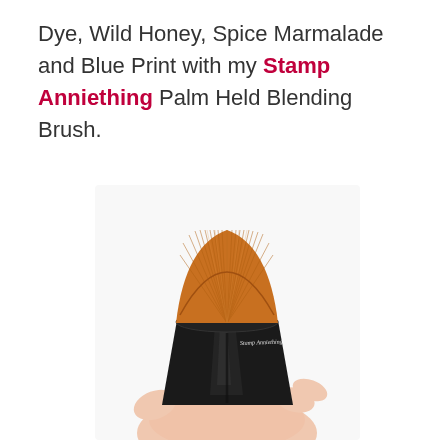Dye, Wild Honey, Spice Marmalade and Blue Print with my Stamp Anniething Palm Held Blending Brush.
[Figure (photo): A hand holding a palm-held blending brush with orange/amber synthetic bristles fanning out at the top and a shiny black trapezoidal handle. The handle has 'Stamp Anniething' written on it in white script. The background is white.]